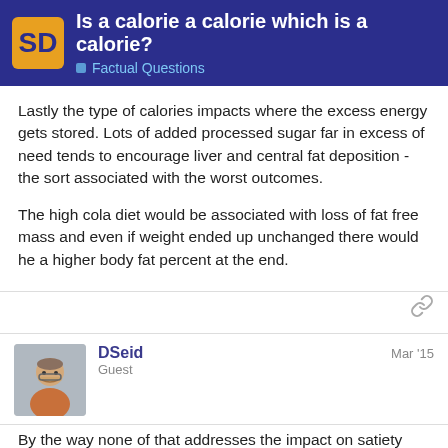SD | Is a calorie a calorie which is a calorie? | Factual Questions
Lastly the type of calories impacts where the excess energy gets stored. Lots of added processed sugar far in excess of need tends to encourage liver and central fat deposition - the sort associated with the worst outcomes.
The high cola diet would be associated with loss of fat free mass and even if weight ended up unchanged there would he a higher body fat percent at the end.
DSeid   Mar '15
Guest
By the way none of that addresses the impact on satiety and satiation - that is how easy of difficult it is to consume just that many calories.
Also just doing the math, no 3000 calories
18 / 41